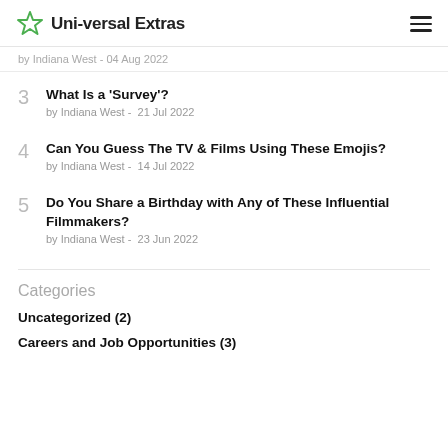Uni-versal Extras
by Indiana West - 04 Aug 2022
3  What Is a 'Survey'?  by Indiana West - 21 Jul 2022
4  Can You Guess The TV & Films Using These Emojis?  by Indiana West - 14 Jul 2022
5  Do You Share a Birthday with Any of These Influential Filmmakers?  by Indiana West - 23 Jun 2022
Categories
Uncategorized (2)
Careers and Job Opportunities (3)